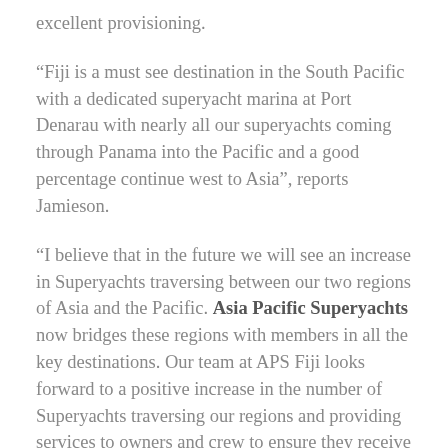excellent provisioning.
“Fiji is a must see destination in the South Pacific with a dedicated superyacht marina at Port Denarau with nearly all our superyachts coming through Panama into the Pacific and a good percentage continue west to Asia”, reports Jamieson.
“I believe that in the future we will see an increase in Superyachts traversing between our two regions of Asia and the Pacific. Asia Pacific Superyachts now bridges these regions with members in all the key destinations. Our team at APS Fiji looks forward to a positive increase in the number of Superyachts traversing our regions and providing services to owners and crew to ensure they receive the very